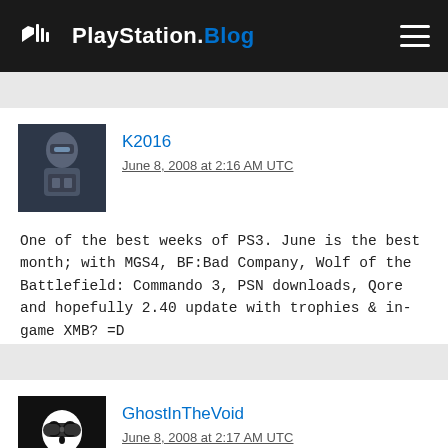PlayStation.Blog
[Figure (photo): Avatar image of user K2016, showing a small armored character figure (game-style)]
K2016
June 8, 2008 at 2:16 AM UTC
One of the best weeks of PS3. June is the best month; with MGS4, BF:Bad Company, Wolf of the Battlefield: Commando 3, PSN downloads, Qore and hopefully 2.40 update with trophies & in-game XMB? =D
[Figure (photo): Avatar image of user GhostInTheVoid, showing a white skull logo on black background]
GhostInTheVoid
June 8, 2008 at 2:17 AM UTC